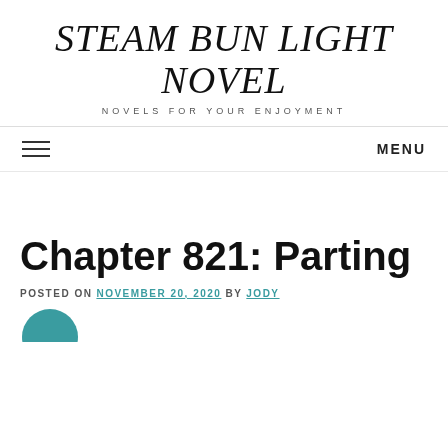STEAM BUN LIGHT NOVEL
NOVELS FOR YOUR ENJOYMENT
MENU
Chapter 821: Parting
POSTED ON NOVEMBER 20, 2020 BY JODY